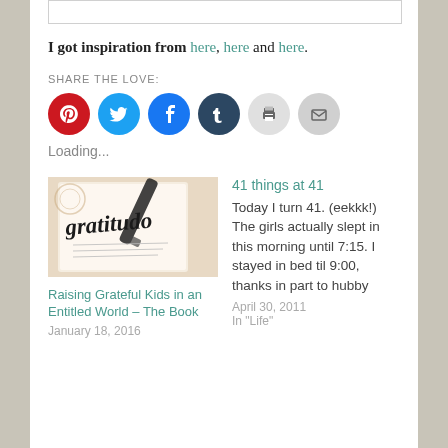[Figure (screenshot): Partial white image/box at the top of the page]
I got inspiration from here, here and here.
SHARE THE LOVE:
[Figure (infographic): Social sharing icons: Pinterest (red), Twitter (blue), Facebook (blue), Tumblr (dark navy), Print (light gray), Email (light gray)]
Loading...
[Figure (photo): Photo of a gratitude journal with cursive 'gratitude' text written in black ink]
Raising Grateful Kids in an Entitled World – The Book
January 18, 2016
41 things at 41
Today I turn 41. (eekkk!) The girls actually slept in this morning until 7:15. I stayed in bed til 9:00, thanks in part to hubby
April 30, 2011
In "Life"